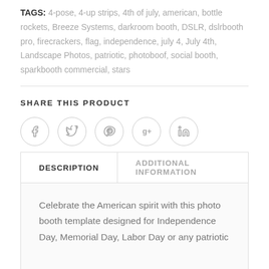TAGS: 4-pose, 4-up strips, 4th of july, american, bottle rockets, Breeze Systems, darkroom booth, DSLR, dslrbooth pro, firecrackers, flag, independence, july 4, July 4th, Landscape Photos, patriotic, photoboof, social booth, sparkbooth commercial, stars
SHARE THIS PRODUCT
[Figure (other): Social share icons: Facebook, Twitter, Pinterest, Google+, LinkedIn — each in a circular outlined button]
| DESCRIPTION | ADDITIONAL INFORMATION |
| --- | --- |
| Celebrate the American spirit with this photo booth template designed for Independence Day, Memorial Day, Labor Day or any patriotic |  |